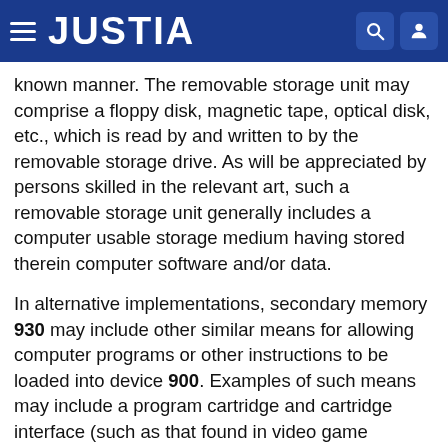JUSTIA
known manner. The removable storage unit may comprise a floppy disk, magnetic tape, optical disk, etc., which is read by and written to by the removable storage drive. As will be appreciated by persons skilled in the relevant art, such a removable storage unit generally includes a computer usable storage medium having stored therein computer software and/or data.
In alternative implementations, secondary memory 930 may include other similar means for allowing computer programs or other instructions to be loaded into device 900. Examples of such means may include a program cartridge and cartridge interface (such as that found in video game devices), a removable memory chip (such as an EPROM, or PROM) and associated socket, and other removable storage units and interfaces, which allow software and data to be transferred from a removable